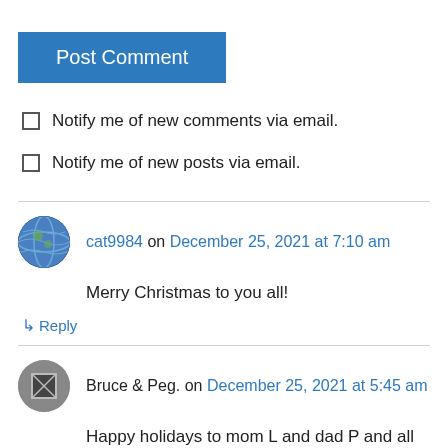[Figure (other): Blue 'Post Comment' button]
Notify me of new comments via email.
Notify me of new posts via email.
cat9984 on December 25, 2021 at 7:10 am
Merry Christmas to you all!
↳ Reply
Bruce & Peg. on December 25, 2021 at 5:45 am
Happy holidays to mom L and dad P and all the kitties.Love sent to Katie for a healthy recovery and a good future the coming years.